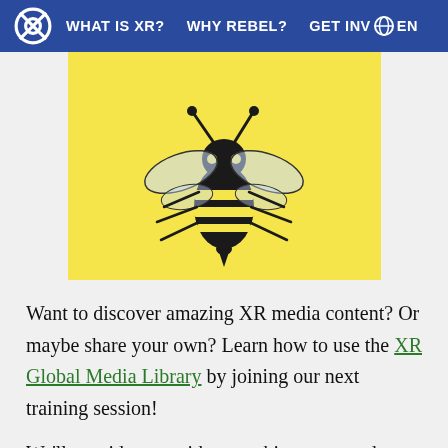WHAT IS XR?   WHY REBEL?   GET INV  EN
[Figure (illustration): Black and white illustration of a bee on a yellow background]
Want to discover amazing XR media content? Or maybe share your own? Learn how to use the XR Global Media Library by joining our next training session!
We'll provide you with everything you need to get started. Just answer this quick questionnaire and